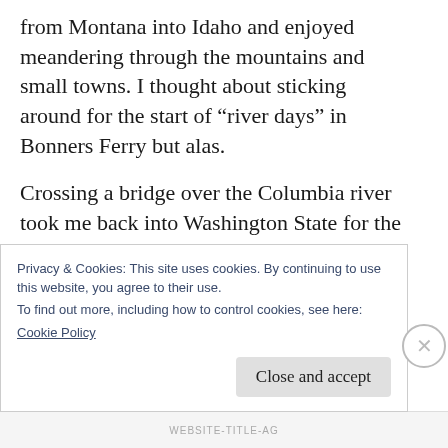from Montana into Idaho and enjoyed meandering through the mountains and small towns. I thought about sticking around for the start of “river days” in Bonners Ferry but alas.
Crossing a bridge over the Columbia river took me back into Washington State for the first time in 14 years. I miss this place. For those who don’t know, I grew up in Issaquah Washington and I still have a lot of friends. People I haven’t seen in a long time. I am really
Privacy & Cookies: This site uses cookies. By continuing to use this website, you agree to their use.
To find out more, including how to control cookies, see here:
Cookie Policy
Close and accept
WEBSITE-TITLE-AG